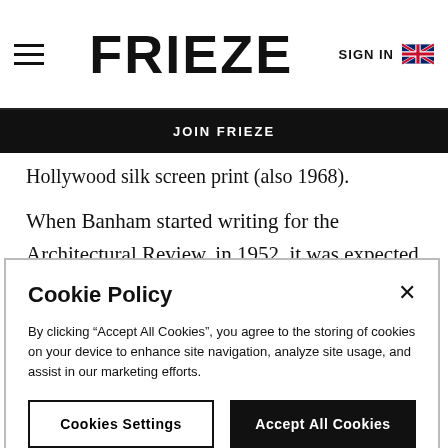FRIEZE | SIGN IN
JOIN FRIEZE
Hollywood silk screen print (also 1968).
When Banham started writing for the Architectural Review, in 1952, it was expected that staff writers would take occasional pictures for their articles using
Cookie Policy
By clicking “Accept All Cookies”, you agree to the storing of cookies on your device to enhance site navigation, analyze site usage, and assist in our marketing efforts.
Cookies Settings | Accept All Cookies